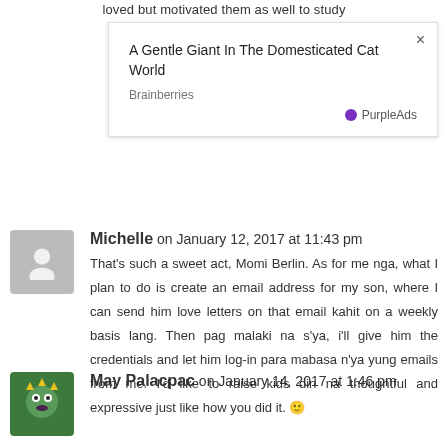loved but motivated them as well to study
[Figure (screenshot): Advertisement box: 'A Gentle Giant In The Domesticated Cat World' by Brainberries, with PurpleAds badge and close button]
Michelle on January 12, 2017 at 11:43 pm
That's such a sweet act, Momi Berlin. As for me nga, what I plan to do is create an email address for my son, where I can send him love letters on that email kahit on a weekly basis lang. Then pag malaki na s'ya, i'll give him the credentials and let him log-in para mabasa n'ya yung emails from me. I'd like to raise kids din na thoughtful and expressive just like how you did it. 🙂
May Palacpac on January 14, 2017 at 1:46 pm